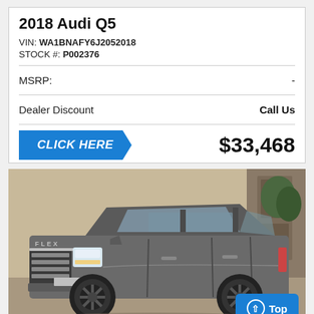2018 Audi Q5
VIN: WA1BNAFY6J2052018
STOCK #: P002376
| MSRP: | - |
| Dealer Discount | Call Us |
CLICK HERE   $33,468
[Figure (photo): Gray SUV (Ford Flex) photographed inside a dealership showroom, front three-quarter view. Vehicle has dark metallic paint, black wheels, and chrome grille. Dealership interior visible in background.]